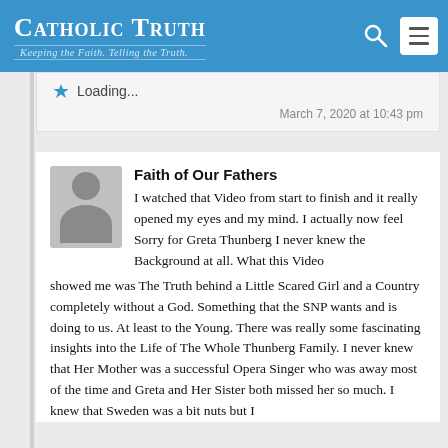Catholic Truth — Keeping the Faith. Telling the Truth.
Loading...
March 7, 2020 at 10:43 pm
Faith of Our Fathers
I watched that Video from start to finish and it really opened my eyes and my mind. I actually now feel Sorry for Greta Thunberg I never knew the Background at all. What this Video showed me was The Truth behind a Little Scared Girl and a Country completely without a God. Something that the SNP wants and is doing to us. At least to the Young. There was really some fascinating insights into the Life of The Whole Thunberg Family. I never knew that Her Mother was a successful Opera Singer who was away most of the time and Greta and Her Sister both missed her so much. I knew that Sweden was a bit nuts but I